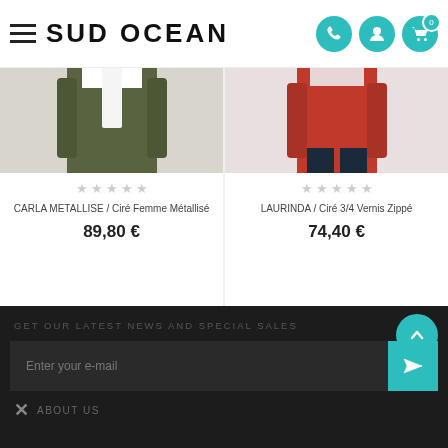SUD OCEAN
[Figure (photo): Product image of CARLA METALLISE olive green jacket, partially visible]
CARLA METALLISE / Ciré Femme Métallisé
89,80 €
[Figure (photo): Product image of LAURINDA red jacket, woman wearing it with jeans, partially visible]
LAURINDA / Ciré 3/4 Vernis Zippé
74,40 €
GET OUR LATEST NEWS AND SPECIAL SALES
Enter your e-mail
ABOUT US